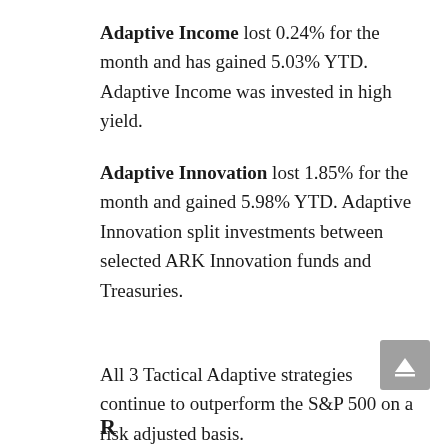Adaptive Income lost 0.24% for the month and has gained 5.03% YTD.  Adaptive Income was invested in high yield.
Adaptive Innovation lost 1.85% for the month and gained 5.98% YTD. Adaptive Innovation split investments between selected ARK Innovation funds and Treasuries.
All 3 Tactical Adaptive strategies continue to outperform the S&P 500 on a risk adjusted basis.